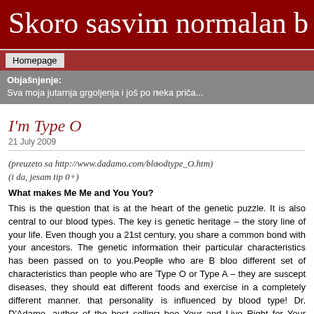Skoro sasvim normalan b
Homepage
Objašnjenje:
Sva moja jutarnja grgoljenja i još po neka priča...
I'm Type O
21 July 2009
(preuzeto sa http://www.dadamo.com/bloodtype_O.htm)
(i da, jesam tip 0+)
What makes Me Me and You You?
This is the question that is at the heart of the genetic puzzle. It is also central to our blood types. The key is genetic heritage – the story line of your life. Even though you a 21st century, you share a common bond with your ancestors. The genetic information their particular characteristics has been passed on to you.People who are B bloo different set of characteristics than people who are Type O or Type A – they are suscept diseases, they should eat different foods and exercise in a completely different manner. that personality is influenced by blood type! Dr. D'Adamo, author of the best selling boo Your and Live Right for Your Type, among others, gives us a blueprint for living in his b to learn more about the Type O individual.